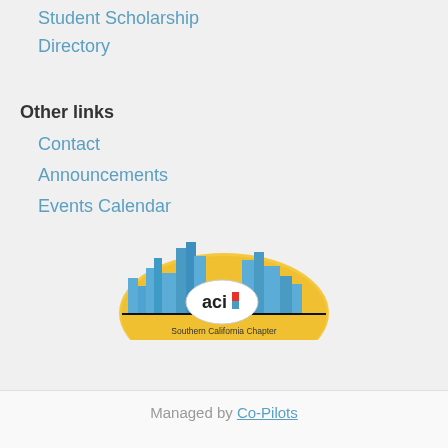Student Scholarship
Directory
Other links
Contact
Announcements
Events Calendar
[Figure (logo): ACI Southern California Chapter logo with city skyline and golden semicircle backdrop]
STAY CONNECTED:
Managed by Co-Pilots